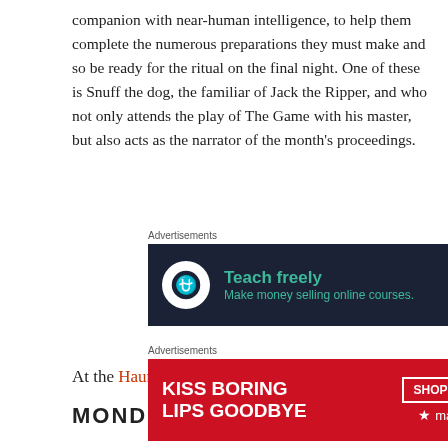companion with near-human intelligence, to help them complete the numerous preparations they must make and so be ready for the ritual on the final night. One of these is Snuff the dog, the familiar of Jack the Ripper, and who not only attends the play of The Game with his master, but also acts as the narrator of the month's proceedings.
[Figure (screenshot): Advertisement banner with dark background showing 'Teach freely - Make money selling online courses.' with a logo icon]
At the Haunted Hollow.
MONDAY, OCTOBER25TH
[Figure (screenshot): Advertisement banner for Macy's: 'KISS BORING LIPS GOODBYE' with SHOP NOW button and Macy's star logo]